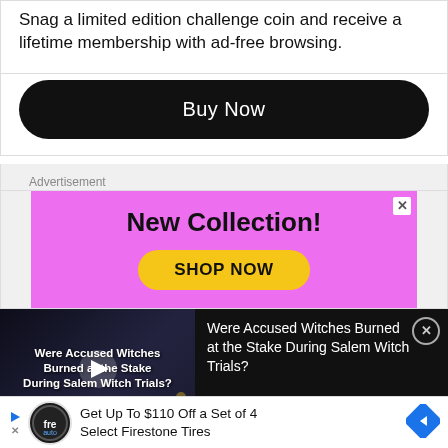Snag a limited edition challenge coin and receive a lifetime membership with ad-free browsing.
[Figure (other): Black rounded rectangle button with white text 'Buy Now']
Advertisement
[Figure (infographic): Pink/magenta advertisement banner with 'New Collection!' heading and yellow 'SHOP NOW' button, with close X in corner]
[Figure (screenshot): Video overlay on dark background showing 'Were Accused Witches Burned at the Stake During Salem Witch Trials?' with play button over dark scene thumbnail]
Were Accused Witches Burned at the Stake During Salem Witch Trials?
[Figure (infographic): Bottom advertisement bar: Firestone auto tires ad with logo, text 'Get Up To $110 Off a Set of 4 Select Firestone Tires', blue diamond arrow icon]